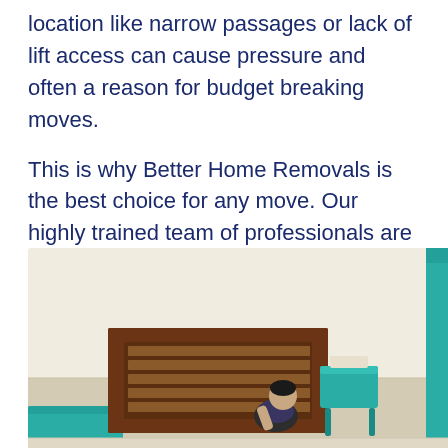location like narrow passages or lack of lift access can cause pressure and often a reason for budget breaking moves.
This is why Better Home Removals is the best choice for any move. Our highly trained team of professionals are equipped with the right tools and equipment for a smooth and efficient move.
[Figure (photo): A person assembling or moving furniture in an empty room. A dark wooden bed headboard is visible in the center, with a teal/turquoise box or item on a stool to the right, teal item on the floor to the left, and teal material on the far right edge. The room has white walls and light-colored flooring.]